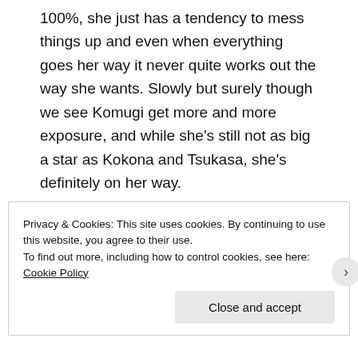100%, she just has a tendency to mess things up and even when everything goes her way it never quite works out the way she wants. Slowly but surely though we see Komugi get more and more exposure, and while she's still not as big a star as Kokona and Tsukasa, she's definitely on her way.
Kokona is probably the character to get the least development, which are a shame because
Privacy & Cookies: This site uses cookies. By continuing to use this website, you agree to their use.
To find out more, including how to control cookies, see here: Cookie Policy
Close and accept